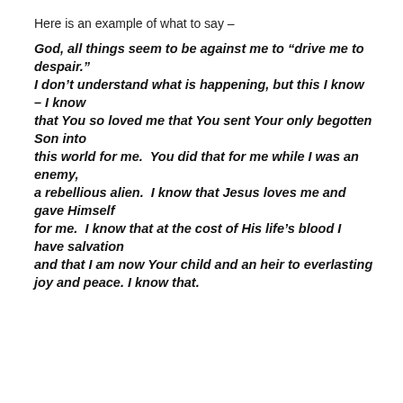Here is an example of what to say –
God, all things seem to be against me to “drive me to despair.” I don’t understand what is happening, but this I know – I know that You so loved me that You sent Your only begotten Son into this world for me.  You did that for me while I was an enemy, a rebellious alien.  I know that Jesus loves me and gave Himself for me.  I know that at the cost of His life’s blood I have salvation and that I am now Your child and an heir to everlasting joy and peace. I know that.